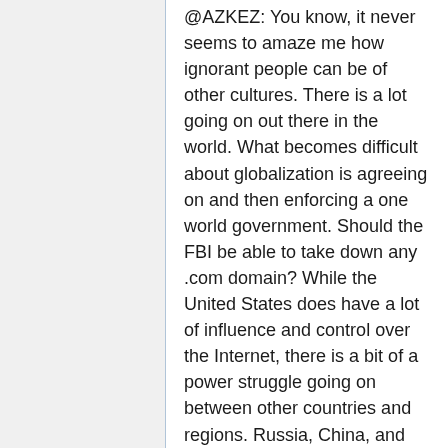@AZKEZ: You know, it never seems to amaze me how ignorant people can be of other cultures. There is a lot going on out there in the world. What becomes difficult about globalization is agreeing on and then enforcing a one world government. Should the FBI be able to take down any .com domain? While the United States does have a lot of influence and control over the Internet, there is a bit of a power struggle going on between other countries and regions. Russia, China, and Europe, for example. China's circumvention tools are particular to the government and laws in China. Although, I do not think many American's would be in agreement with China enforcing a take down of, say, Facebook from within the United States. But, that is exactly what the FBI is doing with websites that are based out of the